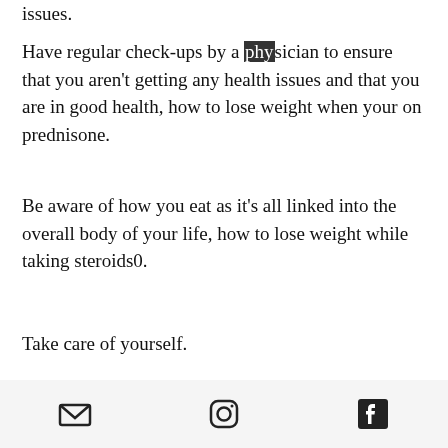issues.
Have regular check-ups by a physician to ensure that you aren't getting any health issues and that you are in good health, how to lose weight when your on prednisone.
Be aware of how you eat as it's all linked into the overall body of your life, how to lose weight while taking steroids0.
Take care of yourself.
You're never too young or too old to take care of yourself, how to lose weight while taking steroids1. When you think about how we live in the present, we really need to start living more consciously and be mindful if we want to achieve our goals.
[email icon] [instagram icon] [facebook icon]